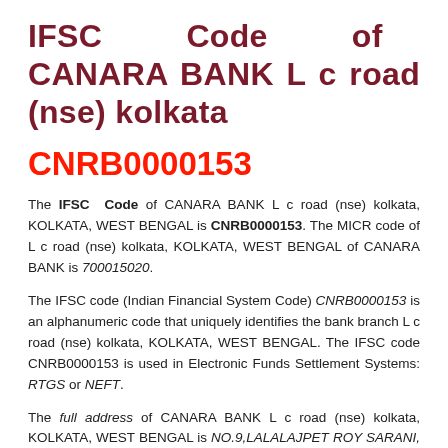IFSC Code of CANARA BANK L c road (nse) kolkata
CNRB0000153
The IFSC Code of CANARA BANK L c road (nse) kolkata, KOLKATA, WEST BENGAL is CNRB0000153. The MICR code of L c road (nse) kolkata, KOLKATA, WEST BENGAL of CANARA BANK is 700015020.
The IFSC code (Indian Financial System Code) CNRB0000153 is an alphanumeric code that uniquely identifies the bank branch L c road (nse) kolkata, KOLKATA, WEST BENGAL. The IFSC code CNRB0000153 is used in Electronic Funds Settlement Systems: RTGS or NEFT.
The full address of CANARA BANK L c road (nse) kolkata, KOLKATA, WEST BENGAL is NO.9,LALALAJPET ROY SARANI, CALCUTTA 700020.